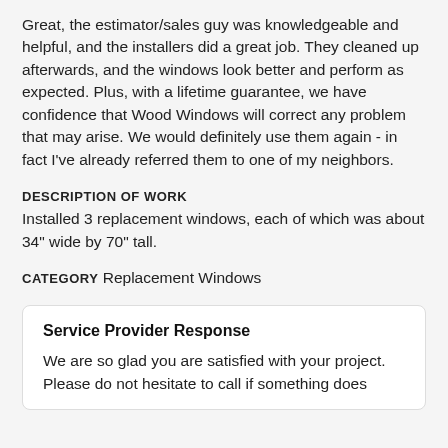Great, the estimator/sales guy was knowledgeable and helpful, and the installers did a great job. They cleaned up afterwards, and the windows look better and perform as expected. Plus, with a lifetime guarantee, we have confidence that Wood Windows will correct any problem that may arise. We would definitely use them again - in fact I've already referred them to one of my neighbors.
DESCRIPTION OF WORK
Installed 3 replacement windows, each of which was about 34" wide by 70" tall.
CATEGORY Replacement Windows
Service Provider Response
We are so glad you are satisfied with your project. Please do not hesitate to call if something does